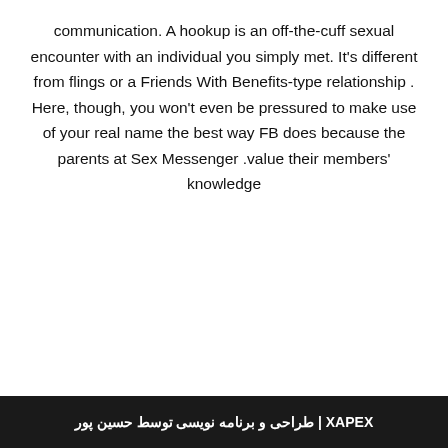communication. A hookup is an off-the-cuff sexual encounter with an individual you simply met. It's different from flings or a Friends With Benefits-type relationship . Here, though, you won't even be pressured to make use of your real name the best way FB does because the parents at Sex Messenger .value their members' knowledge
XAPEX | طراحی و برنامه نویسی توسط حسین پور